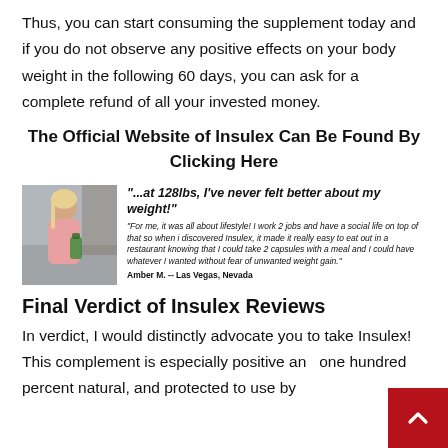Thus, you can start consuming the supplement today and if you do not observe any positive effects on your body weight in the following 60 days, you can ask for a complete refund of all your invested money.
The Official Website of Insulex Can Be Found By Clicking Here
[Figure (photo): Photo of a woman holding a supplement bottle, shown in a kitchen/indoor setting]
"...at 128lbs, I've never felt better about my weight!" "For me, it was all about lifestyle! I work 2 jobs and have a social life on top of that so when I discovered Insulex, it made it really easy to eat out in a restaurant knowing that I could take 2 capsules with a meal and I could have whatever I wanted without fear of unwanted weight gain." Amber M. -- Las Vegas, Nevada
Final Verdict of Insulex Reviews
In verdict, I would distinctly advocate you to take Insulex! This complement is especially positive and one hundred percent natural, and protected to use by